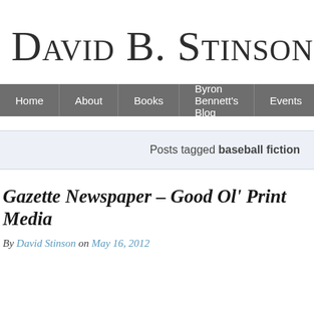David B. Stinson
Home | About | Books | Byron Bennett's Blog | Events | Huntingto…
Posts tagged baseball fiction
Gazette Newspaper – Good Ol' Print Media
By David Stinson on May 16, 2012